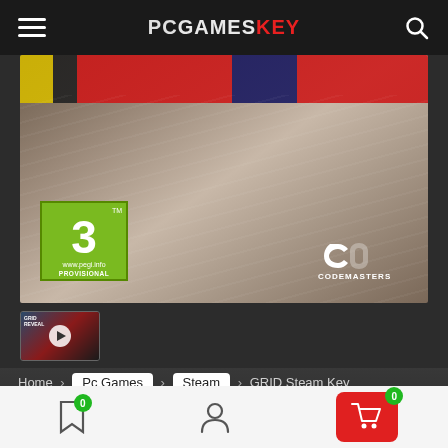PCGAMESKEY
[Figure (screenshot): GRID game promotional screenshot with PEGI 3 rating badge and Codemasters logo, showing a car racing close-up with motion blur. Below is a video thumbnail with play button labeled GRID REVEAL.]
Home > Pc Games > Steam > GRID Steam Key Global